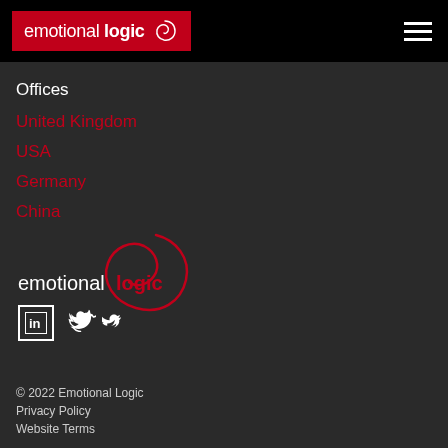emotional logic
Offices
United Kingdom
USA
Germany
China
[Figure (logo): Emotional Logic logo with swirl graphic]
[Figure (other): LinkedIn and Twitter social media icons]
© 2022 Emotional Logic
Privacy Policy
Website Terms